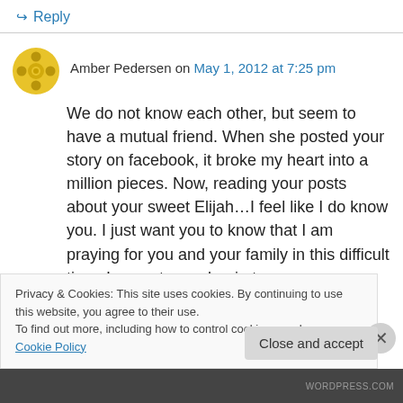↪ Reply
Amber Pedersen on May 1, 2012 at 7:25 pm
We do not know each other, but seem to have a mutual friend. When she posted your story on facebook, it broke my heart into a million pieces. Now, reading your posts about your sweet Elijah…I feel like I do know you. I just want you to know that I am praying for you and your family in this difficult time. I cannot even begin to
Privacy & Cookies: This site uses cookies. By continuing to use this website, you agree to their use.
To find out more, including how to control cookies, see here: Cookie Policy
Close and accept